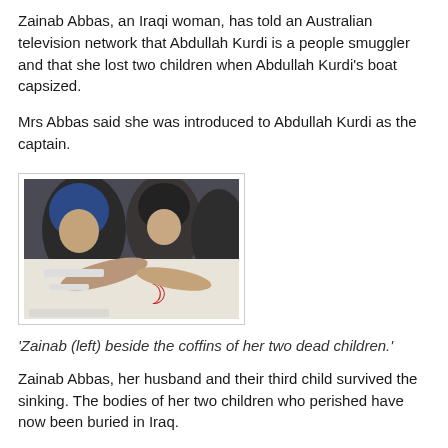Zainab Abbas, an Iraqi woman, has told an Australian television network that Abdullah Kurdi is a people smuggler and that she lost two children when Abdullah Kurdi's boat capsized.
Mrs Abbas said she was introduced to Abdullah Kurdi as the captain.
[Figure (photo): Women grieving beside white coffins/shrouded bodies. A woman in a blue hijab is leaning over the coffins.]
'Zainab (left) beside the coffins of her two dead children.'
Zainab Abbas, her husband and their third child survived the sinking. The bodies of her two children who perished have now been buried in Iraq.
dailymail. / Account of Capsized Migrant Boat Is Disputed